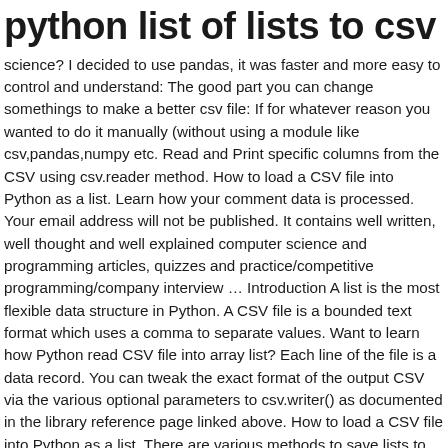python list of lists to csv
science? I decided to use pandas, it was faster and more easy to control and understand: The good part you can change somethings to make a better csv file: If for whatever reason you wanted to do it manually (without using a module like csv,pandas,numpy etc. Read and Print specific columns from the CSV using csv.reader method. How to load a CSV file into Python as a list. Learn how your comment data is processed. Your email address will not be published. It contains well written, well thought and well explained computer science and programming articles, quizzes and practice/competitive programming/company interview … Introduction A list is the most flexible data structure in Python. A CSV file is a bounded text format which uses a comma to separate values. Want to learn how Python read CSV file into array list? Each line of the file is a data record. You can tweak the exact format of the output CSV via the various optional parameters to csv.writer() as documented in the library reference page linked above. How to load a CSV file into Python as a list. There are various methods to save lists to CSV which we will see in this article. Solution: There are four simple ways to convert a list of lists to a CSV file in Python. How to create and initialize a list of lists in python? Then